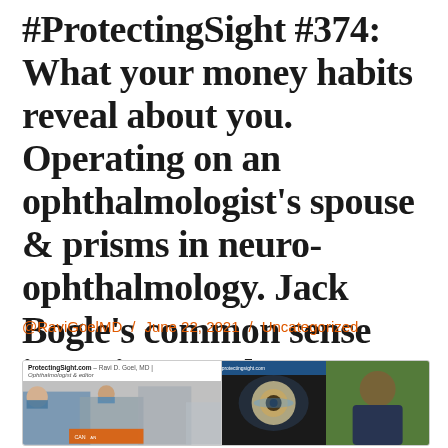#ProtectingSight #374: What your money habits reveal about you. Operating on an ophthalmologist's spouse & prisms in neuro-ophthalmology. Jack Bogle's common sense investing pearls.
@RaviGoelMD / June 22, 2021 / Uncategorized
[Figure (screenshot): Screenshot showing ProtectingSight.com website with Ravi D. Goel, MD - Ophthalmologist & editor header, surgical image on left, and eye/presenter images on right]